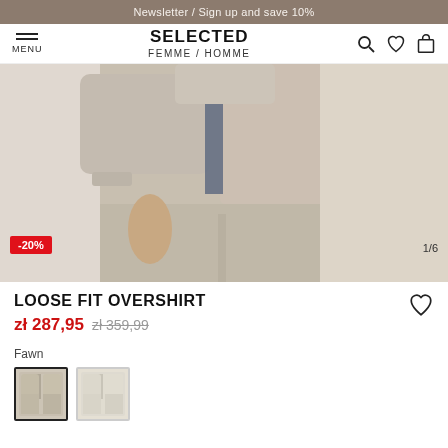Newsletter / Sign up and save 10%
SELECTED FEMME / HOMME
[Figure (photo): Model wearing a loose fit overshirt in fawn/beige color, cropped view showing torso and legs with matching trousers. Discount badge showing -20% in bottom left. Image counter 1/6 in bottom right.]
LOOSE FIT OVERSHIRT
zł 287,95  zł 359,99
Fawn
[Figure (photo): Two color swatches for the overshirt: fawn (selected, with dark border) and a lighter cream/beige option.]